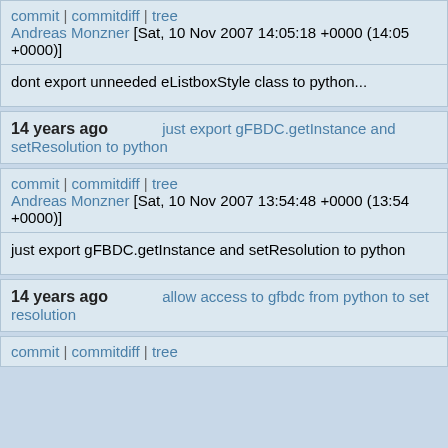commit | commitdiff | tree
Andreas Monzner [Sat, 10 Nov 2007 14:05:18 +0000 (14:05 +0000)]
dont export unneeded eListboxStyle class to python...
14 years ago   just export gFBDC.getInstance and setResolution to python
commit | commitdiff | tree
Andreas Monzner [Sat, 10 Nov 2007 13:54:48 +0000 (13:54 +0000)]
just export gFBDC.getInstance and setResolution to python
14 years ago   allow access to gfbdc from python to set resolution
commit | commitdiff | tree